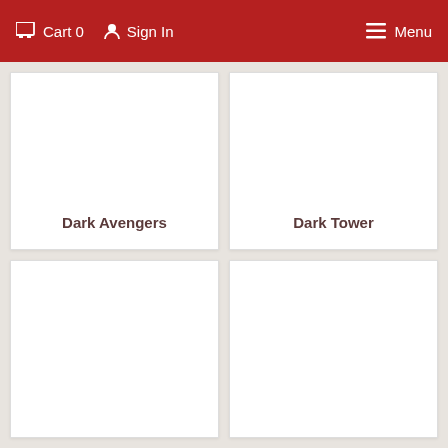Cart 0   Sign In   Menu
Dark Avengers
Dark Tower
[Figure (other): Partial product card, no title visible]
[Figure (other): Partial product card, no title visible]